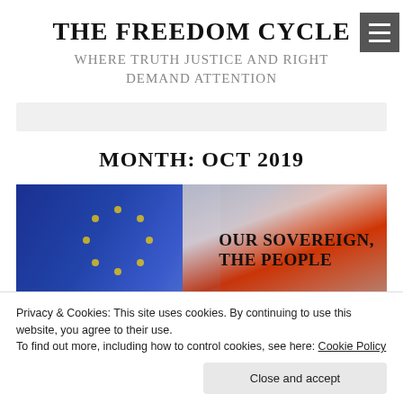THE FREEDOM CYCLE
WHERE TRUTH JUSTICE AND RIGHT DEMAND ATTENTION
MONTH: OCT 2019
[Figure (photo): Article image with EU parliament and flags in background, with bold text overlay reading 'OUR SOVEREIGN, THE PEOPLE']
Privacy & Cookies: This site uses cookies. By continuing to use this website, you agree to their use.
To find out more, including how to control cookies, see here: Cookie Policy
Close and accept